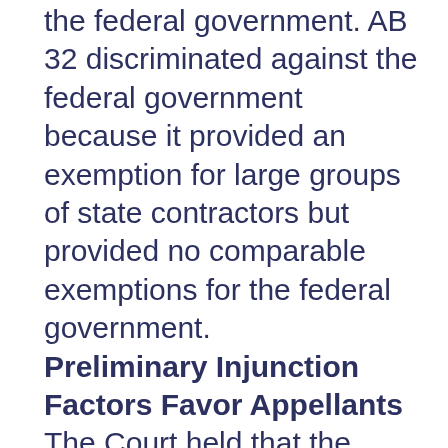the federal government. AB 32 discriminated against the federal government because it provided an exemption for large groups of state contractors but provided no comparable exemptions for the federal government.
Preliminary Injunction Factors Favor Appellants
The Court held that the factors for granting a preliminary injunction weighed in favor of the appellants because the appellants were likely to prevail on the merits and suffer irreparable harm. Additionally, AB 32 likely violated the U.S. Constitution and equity and the public interest supported granting the preliminary injunction.